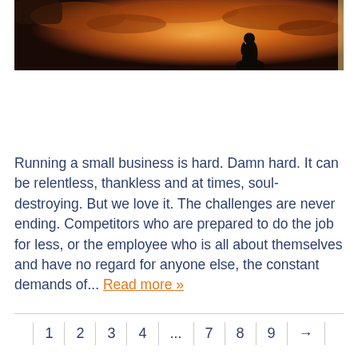[Figure (photo): A silhouette of a person bowing or leaning forward against a dramatic orange sunset sky with clouds.]
Running a small business is hard. Damn hard. It can be relentless, thankless and at times, soul-destroying. But we love it. The challenges are never ending. Competitors who are prepared to do the job for less, or the employee who is all about themselves and have no regard for anyone else, the constant demands of... Read more »
1 2 3 4 ... 7 8 9 →